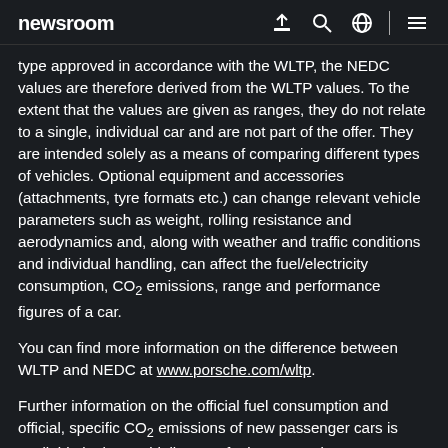newsroom
type approved in accordance with the WLTP, the NEDC values are therefore derived from the WLTP values. To the extent that the values are given as ranges, they do not relate to a single, individual car and are not part of the offer. They are intended solely as a means of comparing different types of vehicles. Optional equipment and accessories (attachments, tyre formats etc.) can change relevant vehicle parameters such as weight, rolling resistance and aerodynamics and, along with weather and traffic conditions and individual handling, can affect the fuel/electricity consumption, CO₂ emissions, range and performance figures of a car.
You can find more information on the difference between WLTP and NEDC at www.porsche.com/wltp.
Further information on the official fuel consumption and official, specific CO₂ emissions of new passenger cars is available in the "Guidelines on fuel consumption, CO₂ emissions and power consumption of new passenger cars" [Leitfaden über den